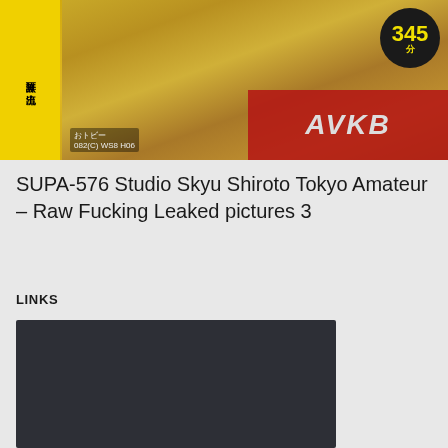[Figure (photo): DVD/video cover image with yellow sidebar containing Japanese text, large number 345 in black circle badge, red logo overlay with Latin letters, and plaid fabric visible]
SUPA-576 Studio Skyu Shiroto Tokyo Amateur – Raw Fucking Leaked pictures 3
LINKS
[Figure (other): Dark rectangular embedded media or link block]